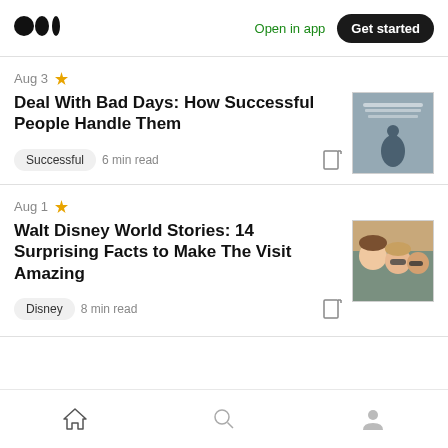Medium logo | Open in app | Get started
Aug 3
Deal With Bad Days: How Successful People Handle Them
Successful  6 min read
[Figure (photo): Thumbnail image for article about bad days — silhouette person with inspirational text]
Aug 1
Walt Disney World Stories: 14 Surprising Facts to Make The Visit Amazing
Disney  8 min read
[Figure (photo): Thumbnail image for Disney article — selfie of people wearing sunglasses]
Home | Search | Profile